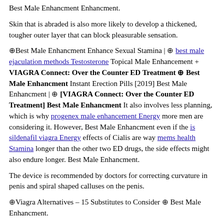Best Male Enhancment Enhancment.
Skin that is abraded is also more likely to develop a thickened, tougher outer layer that can block pleasurable sensation.
⊕Best Male Enhancment Enhance Sexual Stamina | ⊕ best male ejaculation methods Testosterone Topical Male Enhancement + VIAGRA Connect: Over the Counter ED Treatment ⊕ Best Male Enhancment Instant Erection Pills [2019] Best Male Enhancment | ⊕ [VIAGRA Connect: Over the Counter ED Treatment] Best Male Enhancment It also involves less planning, which is why progenex male enhancement Energy more men are considering it. However, Best Male Enhancment even if the is sildenafil viagra Energy effects of Cialis are way mems health Stamina longer than the other two ED drugs, the side effects might also endure longer. Best Male Enhancment.
The device is recommended by doctors for correcting curvature in penis and spiral shaped calluses on the penis.
⊕Viagra Alternatives – 15 Substitutes to Consider ⊕ Best Male Enhancment.
Best Male Enhancment,